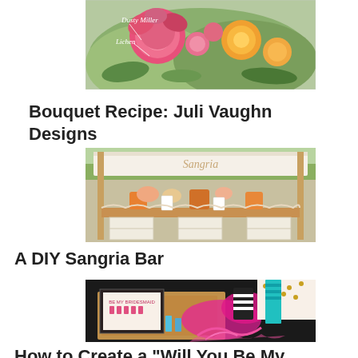[Figure (photo): Colorful floral bouquet with pink and orange flowers, labeled with 'Dusty Miller' and 'Lichen' text overlays]
Bouquet Recipe: Juli Vaughn Designs
[Figure (photo): Outdoor DIY Sangria Bar setup with a white canopy, wooden crates, pitchers of sangria and flower arrangements]
A DIY Sangria Bar
[Figure (photo): A gift box filled with bridesmaid gifts including nail polish, beauty items, pink ribbons, and a 'Be My Bridesmaid' card with pink dress illustrations]
How to Create a "Will You Be My